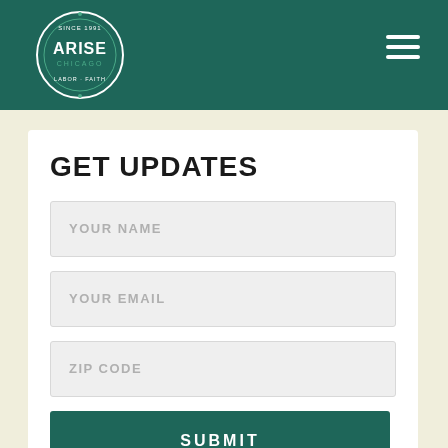[Figure (logo): Arise Chicago circular logo with text ARISE CHICAGO SINCE 1991 LABOR · FAITH]
GET UPDATES
YOUR NAME
YOUR EMAIL
ZIP CODE
SUBMIT